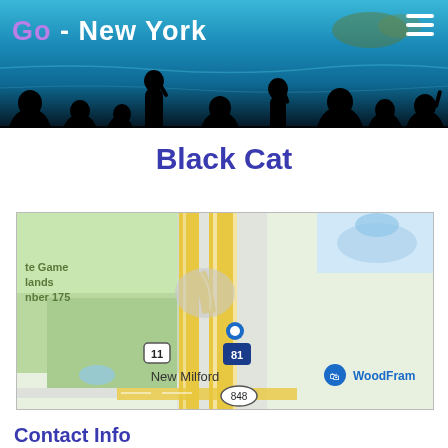Go - New York
Black Cat
[Figure (map): Google Maps view showing New Milford area with Interstate 81, Route 11, Route 848, a blue location pin, and WoodFram label visible. State Game Lands Number 175 shown in green area on left.]
Contact Info